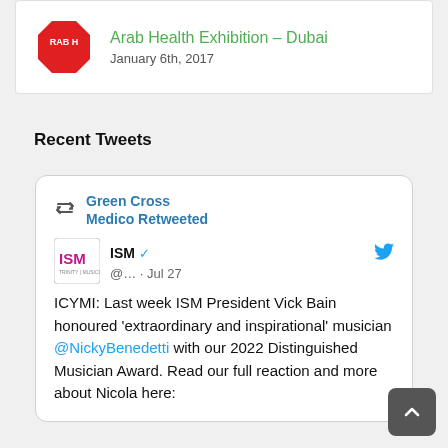[Figure (logo): Red octagon logo with text RAB H in white, representing Arab Health Exhibition]
Arab Health Exhibition – Dubai
January 6th, 2017
Recent Tweets
Green Cross Medico Retweeted
ISM @… · Jul 27
ICYMI: Last week ISM President Vick Bain honoured 'extraordinary and inspirational' musician @NickyBenedetti with our 2022 Distinguished Musician Award. Read our full reaction and more about Nicola here: